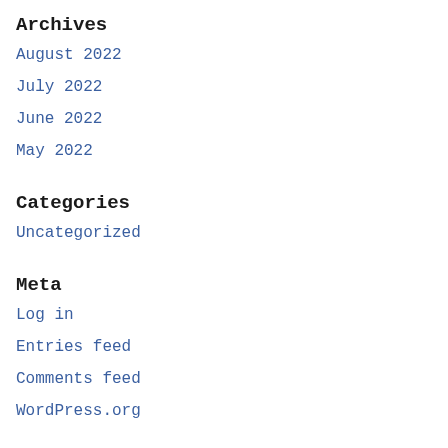Archives
August 2022
July 2022
June 2022
May 2022
Categories
Uncategorized
Meta
Log in
Entries feed
Comments feed
WordPress.org